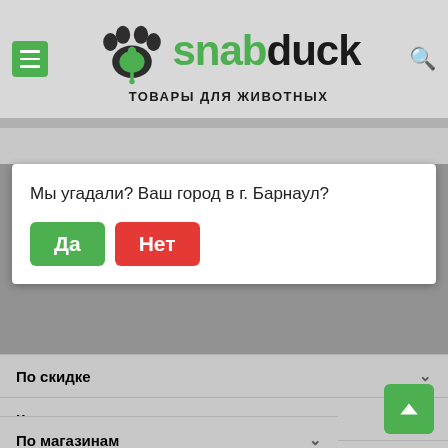[Figure (screenshot): snabduck pet store mobile app header with paw logo, hamburger menu, and search icon]
По умолчанию   По цене   По скидке
Мы угадали? Ваш город в г. Барнаул?
Да
Нет
По скидке
Категории
Фильтер price
По магазинам